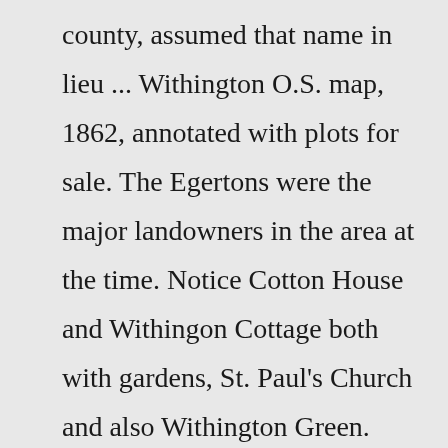county, assumed that name in lieu ... Withington O.S. map, 1862, annotated with plots for sale. The Egertons were the major landowners in the area at the time. Notice Cotton House and Withingon Cottage both with gardens, St. Paul's Church and also Withington Green. Part of the Withington Demesne, 1758. Withington Old Hall and the moat can be seen middle right and the area extends ... The estate is situated in an